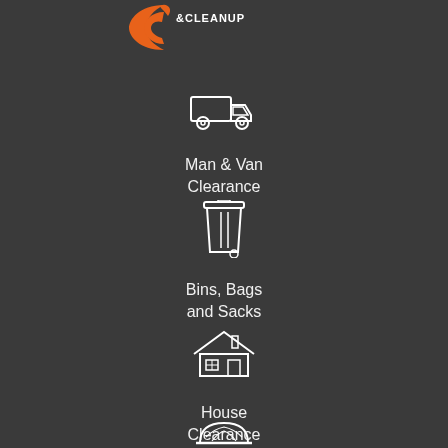[Figure (logo): Logo with orange C shape and text '&CLEANUP']
[Figure (illustration): White outline icon of a delivery/removal van]
Man & Van Clearance
[Figure (illustration): White outline icon of a wheelie bin]
Bins, Bags and Sacks
[Figure (illustration): White outline icon of a house]
House Clearance
[Figure (illustration): White outline icon of a hard hat / safety helmet]
Trade